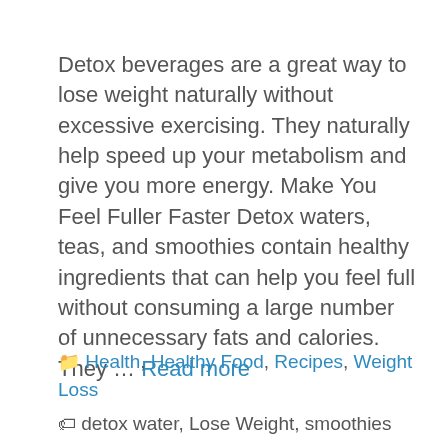Detox beverages are a great way to lose weight naturally without excessive exercising. They naturally help speed up your metabolism and give you more energy. Make You Feel Fuller Faster Detox waters, teas, and smoothies contain healthy ingredients that can help you feel full without consuming a large number of unnecessary fats and calories. They … Read more
📁 Health, Healthy Food, Recipes, Weight Loss
🏷 detox water, Lose Weight, smoothies